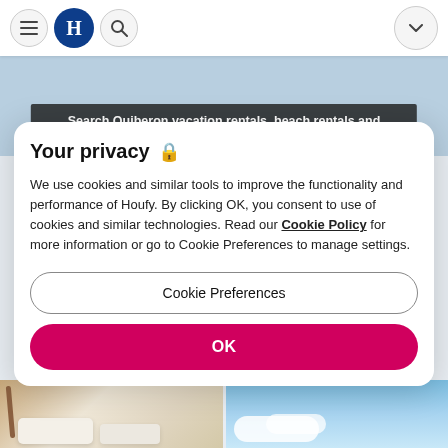Houfy navigation bar with menu, logo, search, and dropdown
[Figure (screenshot): Map banner with dark overlay text reading: Search Quiberon vacation rentals, beach rentals and condos | Houfy on the map]
Your privacy 🔒
We use cookies and similar tools to improve the functionality and performance of Houfy. By clicking OK, you consent to use of cookies and similar technologies. Read our Cookie Policy for more information or go to Cookie Preferences to manage settings.
Cookie Preferences
OK
[Figure (photo): Two thumbnail images at the bottom: left shows an interior with wooden furniture and pillows; right shows a blue sky with clouds]